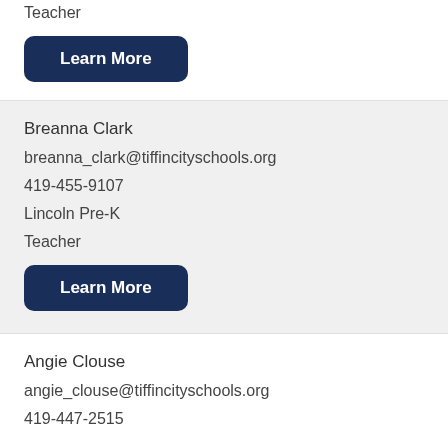Teacher
Learn More
Breanna Clark
breanna_clark@tiffincityschools.org
419-455-9107
Lincoln Pre-K
Teacher
Learn More
Angie Clouse
angie_clouse@tiffincityschools.org
419-447-2515